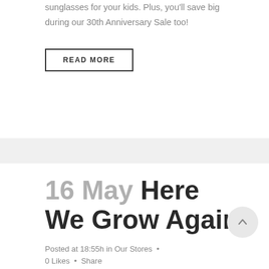sunglasses for your kids. Plus, you'll save big during our 30th Anniversary Sale too!
READ MORE
16 May Here We Grow Again
Posted at 18:55h in Our Stores · 0 Likes · Share